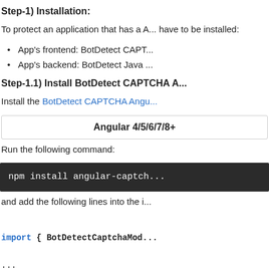Step-1) Installation:
To protect an application that has a A... have to be installed:
App's frontend: BotDetect CAPT...
App's backend: BotDetect Java ...
Step-1.1) Install BotDetect CAPTCHA A...
Install the BotDetect CAPTCHA Angu...
| Angular 4/5/6/7/8+ |
| --- |
Run the following command:
npm install angular-captch...
and add the following lines into the i...
import { BotDetectCaptchaMod...
...
@NgModule({
  declarations: [
    ...
  ],
  imports: [